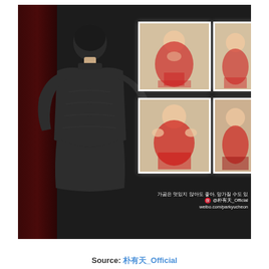[Figure (photo): A person seen from behind, wearing a dark long-sleeve top, photographing framed pictures on a dark gallery wall. Four framed photos are visible on the wall showing figures in red outfits. Korean text and Weibo watermark are overlaid at bottom right.]
Source: 朴有天_Official